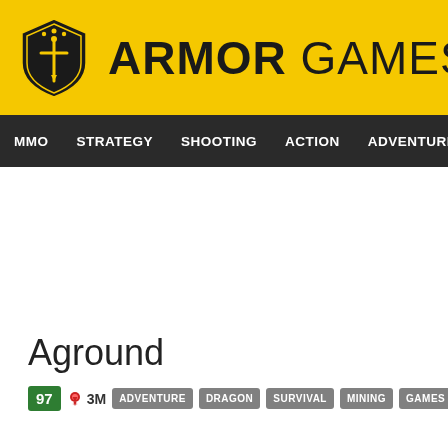[Figure (logo): Armor Games logo: yellow banner with shield icon and ARMOR GAMES text]
MMO  STRATEGY  SHOOTING  ACTION  ADVENTURE  P
Aground
97  3M  ADVENTURE  DRAGON  SURVIVAL  MINING  GAMES OF 2017